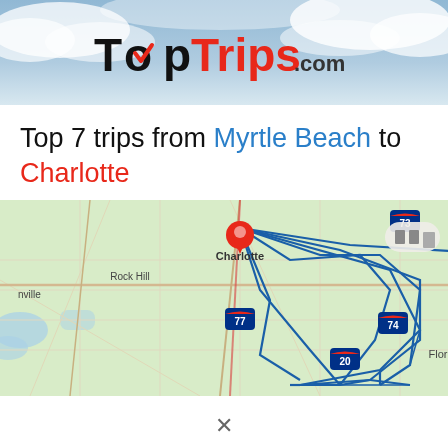[Figure (logo): TopTrips.com logo with red checkmark in 'o' of Top, black 'Top' text and red 'Trips' text with '.com' suffix, on a cloudy blue sky background banner]
Top 7 trips from Myrtle Beach to Charlotte
[Figure (map): Road map showing North Carolina and South Carolina region with Charlotte marked with a red pin at top, and multiple blue route lines connecting Charlotte to Myrtle Beach area, passing through Florence, with highway markers for I-77, I-74, I-20, I-40. Cities labeled include Rock Hill, Charlotte, Fayetteville, Jacksonville, Florence, Wilming(ton). Map shows 7 different trip routes as blue lines.]